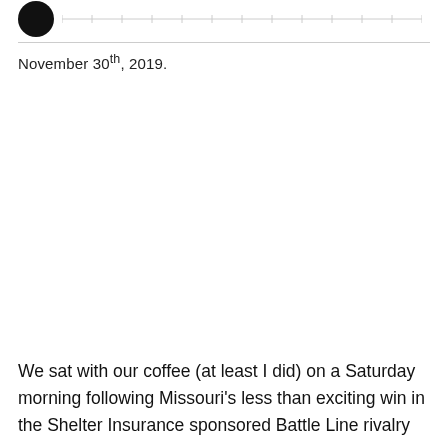[Figure (logo): Black circle logo in upper left corner]
November 30th, 2019.
We sat with our coffee (at least I did) on a Saturday morning following Missouri's less than exciting win in the Shelter Insurance sponsored Battle Line rivalry